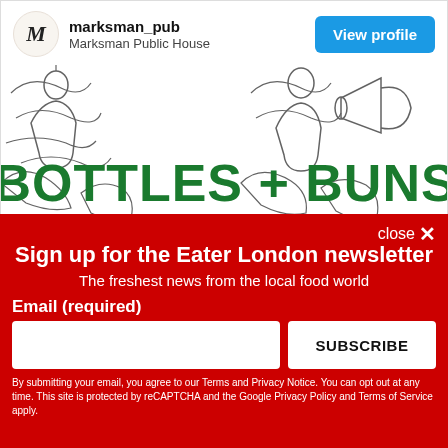[Figure (screenshot): Instagram-style social media card for marksman_pub (Marksman Public House) with a 'View profile' button. Contains a hand-drawn illustration with bold green text reading 'BOTTLES + BUNS'.]
close ✕
Sign up for the Eater London newsletter
The freshest news from the local food world
Email (required)
SUBSCRIBE
By submitting your email, you agree to our Terms and Privacy Notice. You can opt out at any time. This site is protected by reCAPTCHA and the Google Privacy Policy and Terms of Service apply.